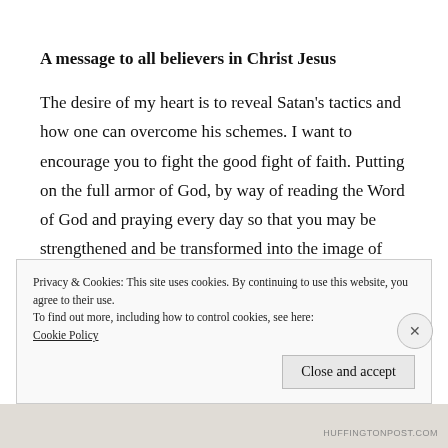A message to all believers in Christ Jesus
The desire of my heart is to reveal Satan’s tactics and how one can overcome his schemes. I want to encourage you to fight the good fight of faith. Putting on the full armor of God, by way of reading the Word of God and praying every day so that you may be strengthened and be transformed into the image of Christ for good
Privacy & Cookies: This site uses cookies. By continuing to use this website, you agree to their use.
To find out more, including how to control cookies, see here:
Cookie Policy